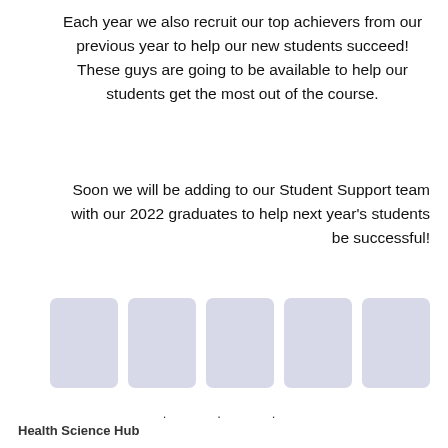Each year we also recruit our top achievers from our previous year to help our new students succeed! These guys are going to be available to help our students get the most out of the course.
Soon we will be adding to our Student Support team with our 2022 graduates to help next year's students be successful!
[Figure (photo): Five placeholder image boxes arranged horizontally representing student photos]
. . .
Health Science Hub